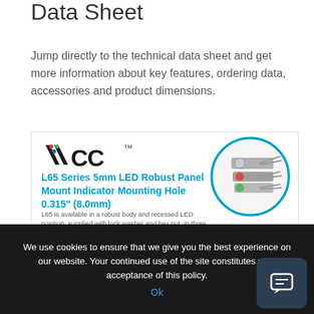Data Sheet
Jump directly to the technical data sheet and get more information about key features, ordering data, accessories and product dimensions.
[Figure (illustration): VCC branded product card showing the L65 Series 5mm LED Robust Panel Mount Indicator with VCC logo, product title in blue, and a circular photo of metal LED indicators with colored lenses.]
We use cookies to ensure that we give you the best experience on our website. Your continued use of the site constitutes your acceptance of this policy.
Ok